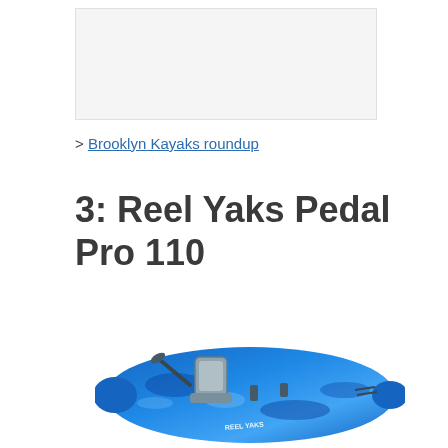[Figure (other): Advertisement placeholder box with light gray background]
> Brooklyn Kayaks roundup
3: Reel Yaks Pedal Pro 110
[Figure (photo): Blue camouflage patterned sit-on-top fishing kayak with a backrest seat, pedal drive system, and rod holders, viewed from above at an angle. The kayak is labeled Reel Yaks.]